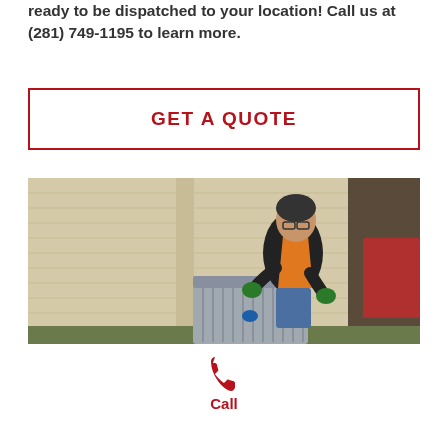ready to be dispatched to your location! Call us at (281) 749-1195 to learn more.
GET A QUOTE
[Figure (photo): HVAC technician wearing black and orange shirt and green gloves, crouching and working on an outdoor air conditioning unit next to a house with beige siding]
Call